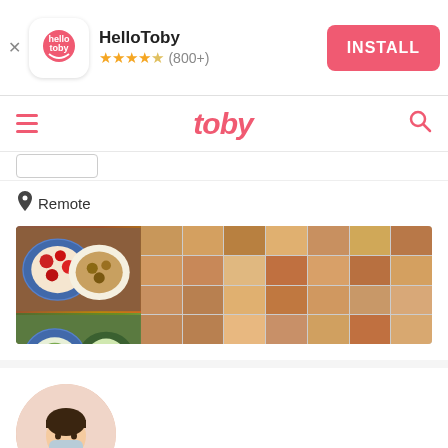[Figure (screenshot): HelloToby app install banner with logo, star rating (800+), and INSTALL button]
[Figure (screenshot): Toby website navigation bar with hamburger menu, toby logo, and search icon]
Remote
[Figure (photo): Collage of many Chinese food dishes in bowls and plates viewed from above]
[Figure (photo): Profile photo of a person wearing a blue medical mask with a smiling face emoji overlay]